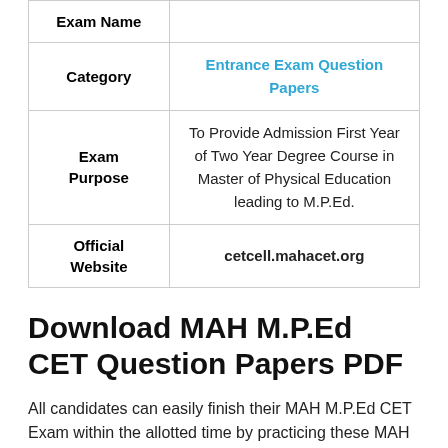| Exam Name |  |
| --- | --- |
| Category | Entrance Exam Question Papers |
| Exam Purpose | To Provide Admission First Year of Two Year Degree Course in Master of Physical Education leading to M.P.Ed. |
| Official Website | cetcell.mahacet.org |
Download MAH M.P.Ed CET Question Papers PDF
All candidates can easily finish their MAH M.P.Ed CET Exam within the allotted time by practicing these MAH